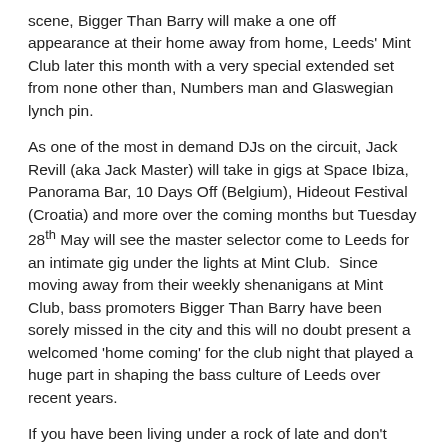scene, Bigger Than Barry will make a one off appearance at their home away from home, Leeds' Mint Club later this month with a very special extended set from none other than, Numbers man and Glaswegian lynch pin.
As one of the most in demand DJs on the circuit, Jack Revill (aka Jack Master) will take in gigs at Space Ibiza, Panorama Bar, 10 Days Off (Belgium), Hideout Festival (Croatia) and more over the coming months but Tuesday 28th May will see the master selector come to Leeds for an intimate gig under the lights at Mint Club.  Since moving away from their weekly shenanigans at Mint Club, bass promoters Bigger Than Barry have been sorely missed in the city and this will no doubt present a welcomed 'home coming' for the club night that played a huge part in shaping the bass culture of Leeds over recent years.
If you have been living under a rock of late and don't know what to expect from Jackmaster be sure to get your ears and eyes round the video and mix below to get you nice and warm for the big night.